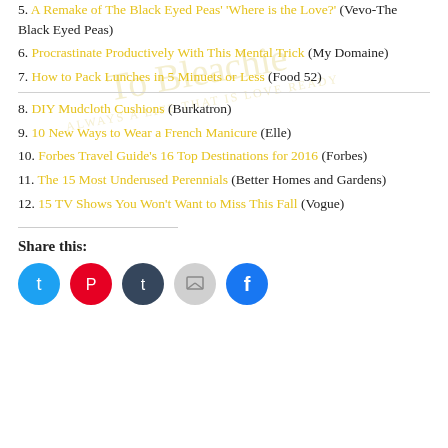5. A Remake of The Black Eyed Peas' 'Where is the Love?' (Vevo-The Black Eyed Peas)
6. Procrastinate Productively With This Mental Trick (My Domaine)
7. How to Pack Lunches in 5 Minuets or Less (Food 52)
8. DIY Mudcloth Cushions (Burkatron)
9. 10 New Ways to Wear a French Manicure (Elle)
10. Forbes Travel Guide's 16 Top Destinations for 2016 (Forbes)
11. The 15 Most Underused Perennials (Better Homes and Gardens)
12. 15 TV Shows You Won't Want to Miss This Fall (Vogue)
Share this: